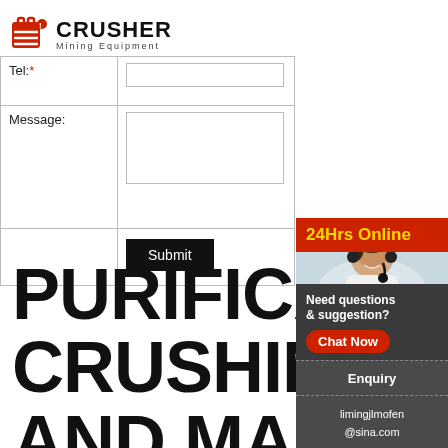[Figure (logo): Crusher Mining Equipment logo with red shopping bag icon]
| Tel:* | (input field) |
| Message: | (textarea field) |
|  | Submit button |
PURIFICATION CRUSHING AND MARKET
[Figure (infographic): 24Hrs Online sidebar with customer service photo, Need questions & suggestion?, Chat Now button, Enquiry, limingjlmofen@sina.com]